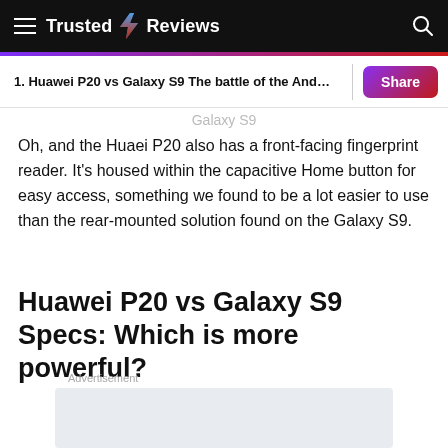Trusted Reviews
1. Huawei P20 vs Galaxy S9 The battle of the And…
Galaxy S9
Oh, and the Huaei P20 also has a front-facing fingerprint reader. It's housed within the capacitive Home button for easy access, something we found to be a lot easier to use than the rear-mounted solution found on the Galaxy S9.
Huawei P20 vs Galaxy S9 Specs: Which is more powerful?
Advertisement